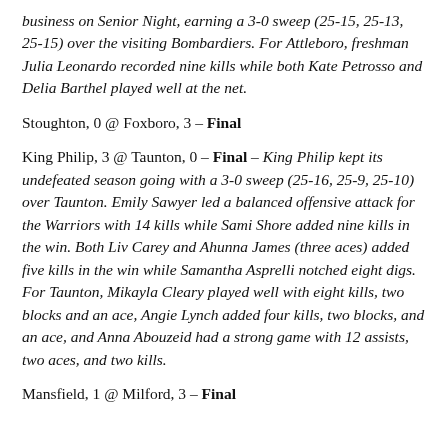business on Senior Night, earning a 3-0 sweep (25-15, 25-13, 25-15) over the visiting Bombardiers. For Attleboro, freshman Julia Leonardo recorded nine kills while both Kate Petrosso and Delia Barthel played well at the net.
Stoughton, 0 @ Foxboro, 3 – Final
King Philip, 3 @ Taunton, 0 – Final – King Philip kept its undefeated season going with a 3-0 sweep (25-16, 25-9, 25-10) over Taunton. Emily Sawyer led a balanced offensive attack for the Warriors with 14 kills while Sami Shore added nine kills in the win. Both Liv Carey and Ahunna James (three aces) added five kills in the win while Samantha Asprelli notched eight digs. For Taunton, Mikayla Cleary played well with eight kills, two blocks and an ace, Angie Lynch added four kills, two blocks, and an ace, and Anna Abouzeid had a strong game with 12 assists, two aces, and two kills.
Mansfield, 1 @ Milford, 3 – Final